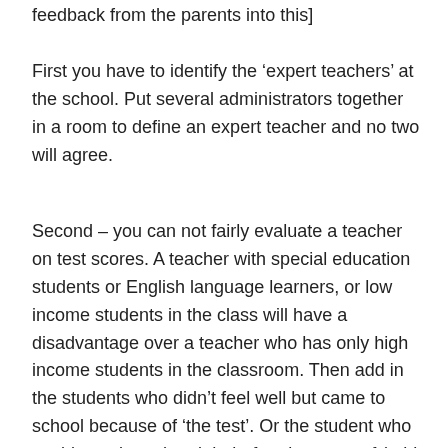feedback from the parents into this]
First you have to identify the ‘expert teachers’ at the school. Put several administrators together in a room to define an expert teacher and no two will agree.
Second – you can not fairly evaluate a teacher on test scores. A teacher with special education students or English language learners, or low income students in the class will have a disadvantage over a teacher who has only high income students in the classroom. Then add in the students who didn’t feel well but came to school because of ‘the test’. Or the student who could not sleep the night before because of (add in the worse scenario). In your case, all the